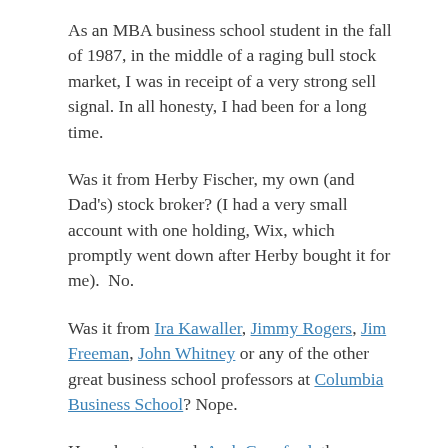As an MBA business school student in the fall of 1987, in the middle of a raging bull stock market, I was in receipt of a very strong sell signal. In all honesty, I had been for a long time.
Was it from Herby Fischer, my own (and Dad's) stock broker? (I had a very small account with one holding, Wix, which promptly went down after Herby bought it for me).  No.
Was it from Ira Kawaller, Jimmy Rogers, Jim Freeman, John Whitney or any of the other great business school professors at Columbia Business School? Nope.
How about my pal, Arch Crawford, the famous stock prognosticator who predicted future DJIA index levels by Astrology? Nice try. But wrong.
Ok. Ya think the source could have been someone who had no experience whatsoever in portfolio theory, Elliot wave, or